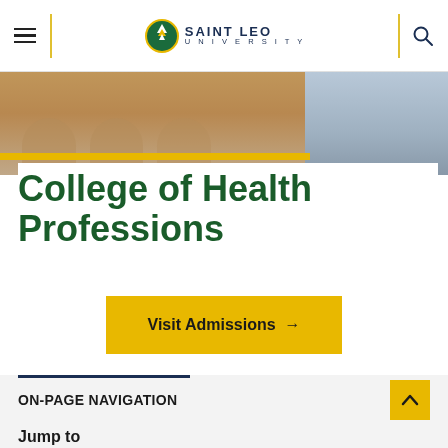Saint Leo University
[Figure (photo): Exterior photo of a building with arches, beige/tan facade, blue sky]
College of Health Professions
Visit Admissions →
ON-PAGE NAVIGATION
Jump to
Dedicated to the Advancement of Health Care